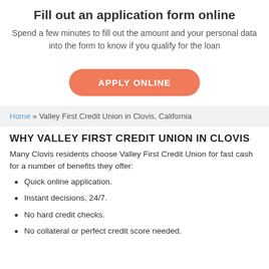Fill out an application form online
Spend a few minutes to fill out the amount and your personal data into the form to know if you qualify for the loan
[Figure (other): Orange rounded button with text APPLY ONLINE]
Home » Valley First Credit Union in Clovis, California
WHY VALLEY FIRST CREDIT UNION IN CLOVIS
Many Clovis residents choose Valley First Credit Union for fast cash for a number of benefits they offer:
Quick online application.
Instant decisions, 24/7.
No hard credit checks.
No collateral or perfect credit score needed.